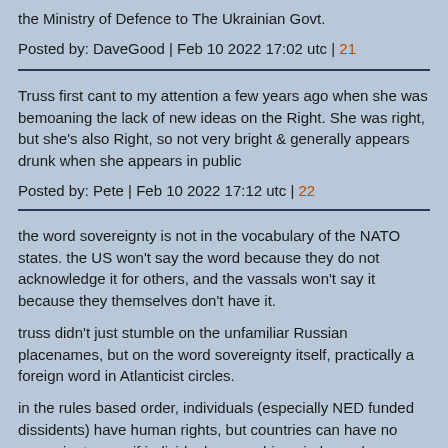the Ministry of Defence to The Ukrainian Govt.
Posted by: DaveGood | Feb 10 2022 17:02 utc | 21
Truss first cant to my attention a few years ago when she was bemoaning the lack of new ideas on the Right. She was right, but she's also Right, so not very bright & generally appears drunk when she appears in public
Posted by: Pete | Feb 10 2022 17:12 utc | 22
the word sovereignty is not in the vocabulary of the NATO states. the US won't say the word because they do not acknowledge it for others, and the vassals won't say it because they themselves don't have it.

truss didn't just stumble on the unfamiliar Russian placenames, but on the word sovereignty itself, practically a foreign word in Atlanticist circles.

in the rules based order, individuals (especially NED funded dissidents) have human rights, but countries can have no sovereignty -- as if individuals can achieve independence when their motherland is a dependency.

as meng wanzhou said upon her release: this was only possible because of china's national strength, there is no...